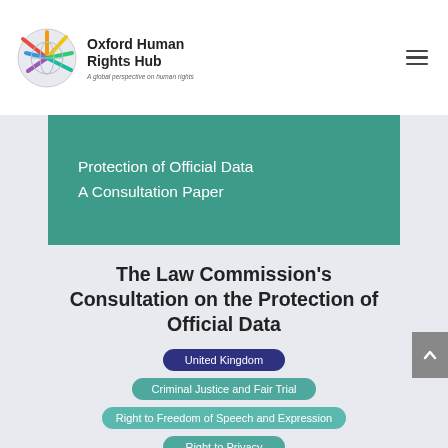Oxford Human Rights Hub – A global perspective on human rights
[Figure (logo): Oxford Human Rights Hub logo: globe icon with colorful rays and text 'Oxford Human Rights Hub – A global perspective on human rights']
Protection of Official Data
A Consultation Paper
The Law Commission's Consultation on the Protection of Official Data
United Kingdom
Criminal Justice and Fair Trial
Right to Freedom of Speech and Expression
Right to Privacy
The recent publication of the Law Commission's